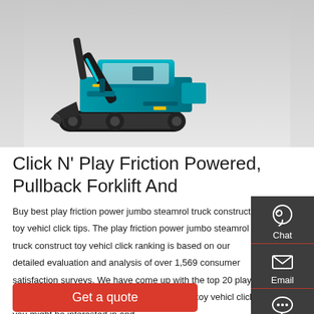[Figure (photo): A teal/green mini excavator with tracks and a bucket arm, photographed on a white/gray background]
Click N' Play Friction Powered, Pullback Forklift And
Buy best play friction power jumbo steamrol truck construct toy vehicl click tips. The play friction power jumbo steamrol truck construct toy vehicl click ranking is based on our detailed evaluation and analysis of over 1,569 consumer satisfaction surveys. We have come up with the top 20 play friction power jumbo steamrol truck construct toy vehicl click you might be interested in and …
Get a quote
[Figure (infographic): Side panel with three icons: Chat (headset icon), Email (envelope icon), Contact (speech bubble with dots icon), dark gray background with red dividers]